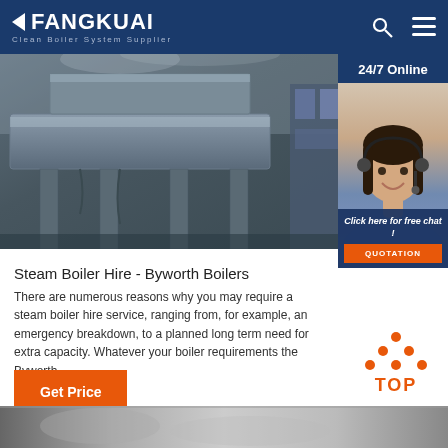FANGKUAI Clean Boiler System Supplier
[Figure (photo): Industrial boiler equipment photo showing metal ductwork and ventilation components in a factory setting]
[Figure (photo): 24/7 Online customer service representative wearing a headset, smiling]
Click here for free chat !
QUOTATION
Steam Boiler Hire - Byworth Boilers
There are numerous reasons why you may require a steam boiler hire service, ranging from, for example, an emergency breakdown, to a planned long term need for extra capacity. Whatever your boiler requirements the Byworth
Get Price
[Figure (illustration): TOP button icon with orange dots arranged in a triangle above the word TOP in orange]
[Figure (photo): Bottom strip showing partial industrial boiler equipment photo]